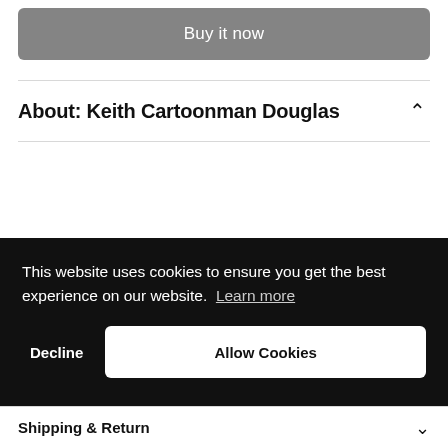Buy it now
About: Keith Cartoonman Douglas
This website uses cookies to ensure you get the best experience on our website. Learn more
Decline
Allow Cookies
Shipping & Return